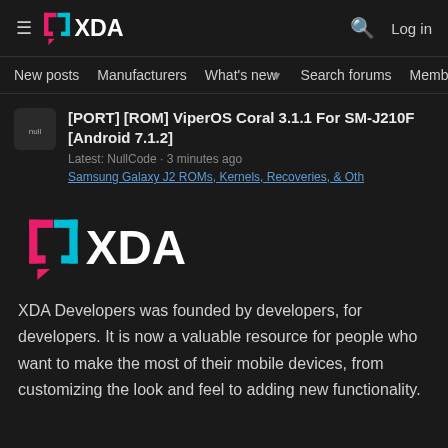≡ XDA Log in
New posts  Manufacturers  What's new  Search forums  Members >
[PORT] [ROM] ViperOS Coral 3.1.1 For SM-J210F [Android 7.1.2]
Latest: NullCode · 3 minutes ago
Samsung Galaxy J2 ROMs, Kernels, Recoveries, & Oth
[Figure (logo): XDA Developers logo — large, white text with pink/blue bracket icon]
XDA Developers was founded by developers, for developers. It is now a valuable resource for people who want to make the most of their mobile devices, from customizing the look and feel to adding new functionality.